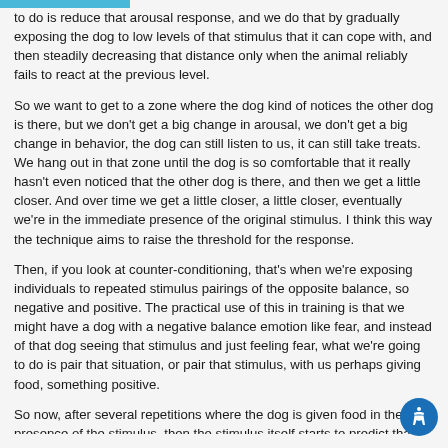to do is reduce that arousal response, and we do that by gradually exposing the dog to low levels of that stimulus that it can cope with, and then steadily decreasing that distance only when the animal reliably fails to react at the previous level.
So we want to get to a zone where the dog kind of notices the other dog is there, but we don't get a big change in arousal, we don't get a big change in behavior, the dog can still listen to us, it can still take treats. We hang out in that zone until the dog is so comfortable that it really hasn't even noticed that the other dog is there, and then we get a little closer. And over time we get a little closer, a little closer, eventually we're in the immediate presence of the original stimulus. I think this way the technique aims to raise the threshold for the response.
Then, if you look at counter-conditioning, that's when we're exposing individuals to repeated stimulus pairings of the opposite balance, so negative and positive. The practical use of this in training is that we might have a dog with a negative balance emotion like fear, and instead of that dog seeing that stimulus and just feeling fear, what we're going to do is pair that situation, or pair that stimulus, with us perhaps giving food, something positive.
So now, after several repetitions where the dog is given food in the presence of the stimulus, then the stimulus itself starts to predict that good things are going to happen for the dog. So often that systematic desensitization and counter-conditioning most commonly are great together in some form and work as one basic principal.